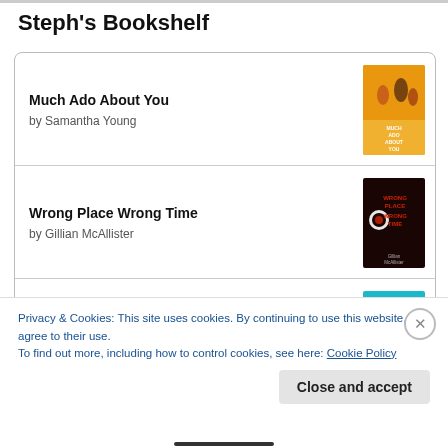Steph's Bookshelf
Much Ado About You by Samantha Young
Wrong Place Wrong Time by Gillian McAllister
Malibu Rising by Taylor Jenkins Reid
Privacy & Cookies: This site uses cookies. By continuing to use this website, you agree to their use.
To find out more, including how to control cookies, see here: Cookie Policy
Close and accept